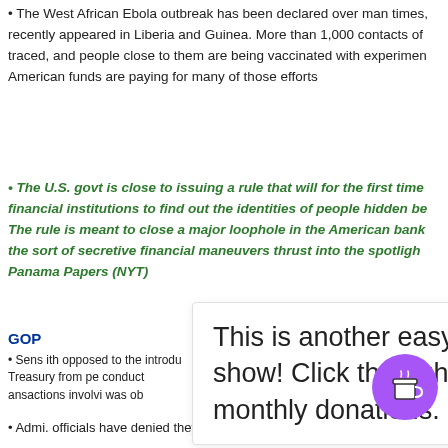• The West African Ebola outbreak has been declared over man times, recently appeared in Liberia and Guinea. More than 1,000 contacts of traced, and people close to them are being vaccinated with experiments. American funds are paying for many of those efforts
• The U.S. govt is close to issuing a rule that will for the first time financial institutions to find out the identities of people hidden be The rule is meant to close a major loophole in the American bank the sort of secretive financial maneuvers thrust into the spotlight Panama Papers (NYT)
This is another easy way to donate to support the show! Click through for more options to make monthly donations.
GOP
• Sens ith opposed to the introdu Treasury from pe conduct ansactions involvi was ob
Access (AP, Hill)
• Admi officials have denied they're considering giving Iran direct access